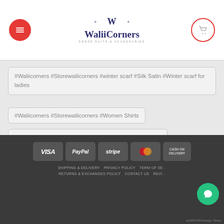WaliiCorners
#Waliicorners #Storewaliicorners #winter scarf #Silk Satin #Winter scarf for ladies
#Waliicorners #Storewaliicorners #Women Shirts
#Waliicorners #Storewaliicorners #Women Shirts #Blouse
#Waliicorners #Storewaliicorners #Women Sweater #Knitwear
[Figure (infographic): Social media icons in red circle borders: Facebook, Instagram, Twitter, Email, Pinterest]
VISA PayPal stripe MasterCard CASH ON DELIVERY | SHIPPING & DELIVERY  PRIVACY POLICY  TERM OF SE...  RETURNS & EXCHANGES POLICY  CONTACT US  REVI...  reCAPTCHA Privacy - Terms